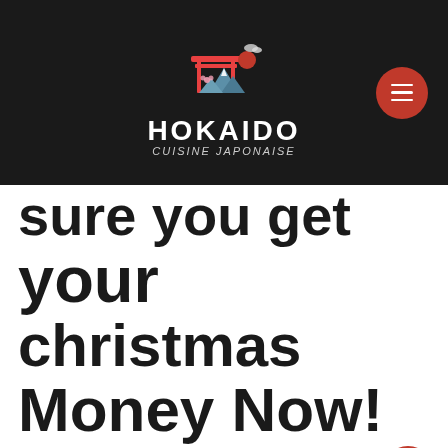[Figure (logo): Hokaido Cuisine Japonaise logo with torii gate, mountains, sakura flower, and red sun icon on dark background with hamburger menu button]
sure you get your christmas Money Now!
Which you have a problem getting that loan from the credit union or bank in your town, it